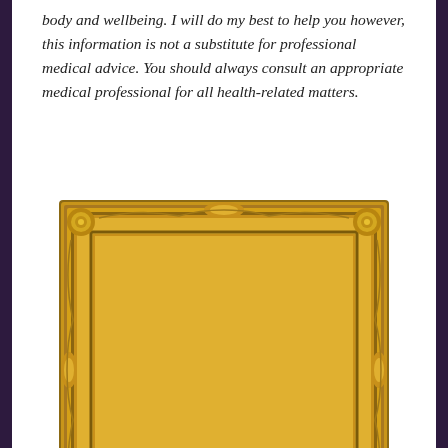body and wellbeing. I will do my best to help you however, this information is not a substitute for professional medical advice. You should always consult an appropriate medical professional for all health-related matters.
[Figure (photo): Portrait photo of a middle-aged woman with red/auburn hair, smiling, wearing hoop earrings and teal earrings, displayed within an ornate gold picture frame]